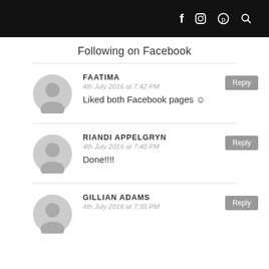f  [instagram]  [pinterest]  [search]
Following on Facebook
FAATIMA
4th July 2016 at 7:42 PM
Liked both Facebook pages ☺
RIANDI APPELGRYN
4th July 2016 at 7:40 PM
Done!!!!
GILLIAN ADAMS
4th July 2016 at 7:35 PM